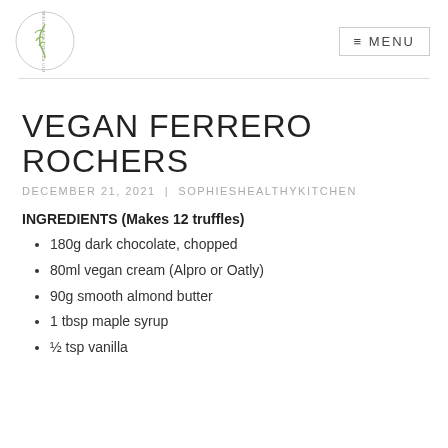Sophie's Healthy Kitchen logo | MENU
VEGAN FERRERO ROCHERS
DECEMBER 21, 2021 | SOPHIESHEALTHYKITCHEN
INGREDIENTS (Makes 12 truffles)
180g dark chocolate, chopped
80ml vegan cream (Alpro or Oatly)
90g smooth almond butter
1 tbsp maple syrup
½ tsp vanilla